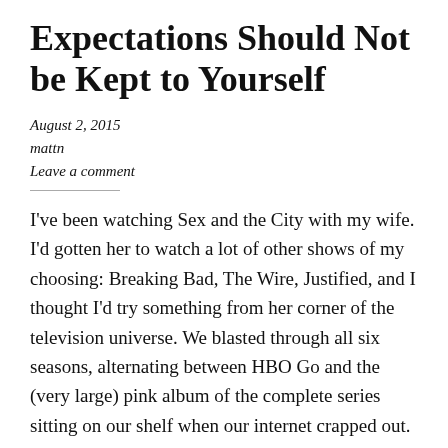Expectations Should Not be Kept to Yourself
August 2, 2015
mattn
Leave a comment
I've been watching Sex and the City with my wife. I'd gotten her to watch a lot of other shows of my choosing: Breaking Bad, The Wire, Justified, and I thought I'd try something from her corner of the television universe. We blasted through all six seasons, alternating between HBO Go and the (very large) pink album of the complete series sitting on our shelf when our internet crapped out. We